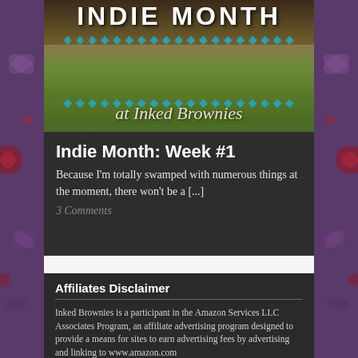[Figure (illustration): Banner image for 'Indie Month at Inked Brownies' — text INDIE MONTH in white bold caps over a field/grass photograph with teal and brown diamond border decoration, and script text 'at Inked Brownies' overlaid]
Indie Month: Week #1
Because I'm totally swamped with numerous things at the moment, there won't be a [...]
3 Comments
Affiliates Disclaimer
Inked Brownies is a participant in the Amazon Services LLC Associates Program, an affiliate advertising program designed to provide a means for sites to earn advertising fees by advertising and linking to www.amazon.com